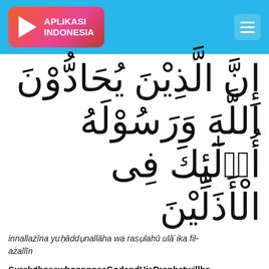[Figure (logo): Aplikasi Indonesia logo with play button icon on red-orange gradient background, inside a cyan/blue header bar with hamburger menu icon]
إِنَّ الَّذِيْنَ يُحَادُّونَ اللَّهَ وَرَسُوْلَهُ أُو۟لَٰٓئِكَ فِى الْأَذَلِّيْنَ
innallażīna yuḥāddụnallāha wa rasụlahū ulā`ika fil-ażallīn
SurelythosewhoopposeGodandHisProphetwillbe amongthevilest.